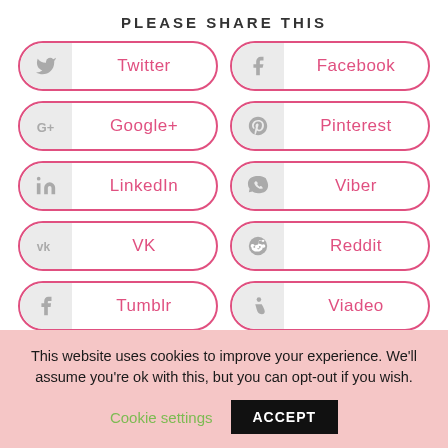PLEASE SHARE THIS
[Figure (infographic): Grid of social share buttons: Twitter, Facebook, Google+, Pinterest, LinkedIn, Viber, VK, Reddit, Tumblr, Viadeo, WhatsApp]
This website uses cookies to improve your experience. We'll assume you're ok with this, but you can opt-out if you wish.
Cookie settings   ACCEPT